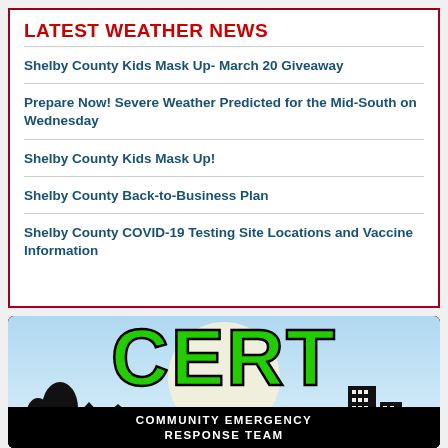LATEST WEATHER NEWS
Shelby County Kids Mask Up- March 20 Giveaway
Prepare Now! Severe Weather Predicted for the Mid-South on Wednesday
Shelby County Kids Mask Up!
Shelby County Back-to-Business Plan
Shelby County COVID-19 Testing Site Locations and Vaccine Information
[Figure (logo): CERT Community Emergency Response Team logo with large green block letters CERT on a light blue background with a city silhouette below, and 'COMMUNITY EMERGENCY RESPONSE TEAM' text on a black background]